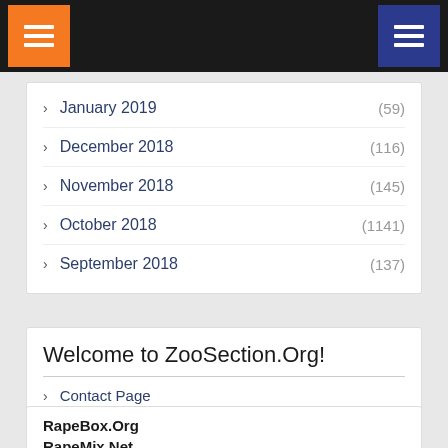[Figure (screenshot): Navigation bar with orange hamburger menu on left and blue hamburger menu on right on dark background]
January 2019 (59)
December 2018 (116)
November 2018 (145)
October 2018 (1141)
September 2018 (137)
Welcome to ZooSection.Org!
Contact Page
RapeBox.Org
RapeMix.Net